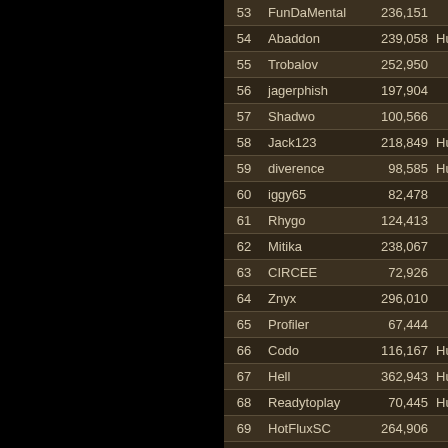| Rank | Name | Score | Race |
| --- | --- | --- | --- |
| 53 | FunDaMental | 236,151 | Elf |
| 54 | Abaddon | 239,058 | Human |
| 55 | Trobalov | 252,950 | Orc |
| 56 | jagerphish | 197,904 | Elf |
| 57 | Shadwo | 100,566 | Orc |
| 58 | Jack123 | 218,849 | Human |
| 59 | diverence | 98,585 | Human |
| 60 | iggy65 | 82,478 | Elf |
| 61 | Rhygo | 124,413 | Orc |
| 62 | Mitika | 238,067 | Orc |
| 63 | CIRCEE | 72,926 | Elf |
| 64 | Znyx | 296,010 | Elf |
| 65 | Profiler | 67,444 | Elf |
| 66 | Codo | 116,167 | Human |
| 67 | Hell | 362,943 | Human |
| 68 | Readytoplay | 70,445 | Human |
| 69 | HotFluxSC | 264,906 | Elf |
| 70 | dazmon | 104,100 | Human |